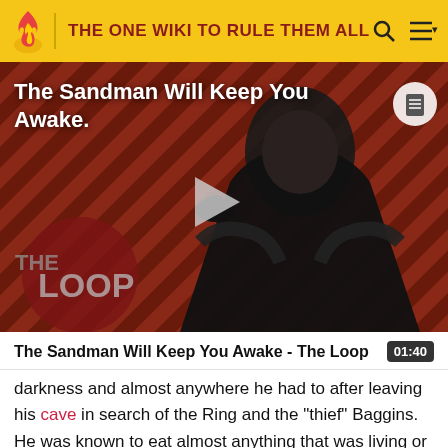THE ONE WIKI TO RULE THEM ALL
[Figure (screenshot): Video thumbnail showing a dark-cloaked figure against a red diagonal striped background. Title overlay reads 'The Sandman Will Keep You Awake.' with a play button in the center and 'THE LOOP' logo in the bottom left.]
The Sandman Will Keep You Awake - The Loop  01:40
darkness and almost anywhere he had to after leaving his cave in search of the Ring and the "thief" Baggins. He was known to eat almost anything that was living or edible